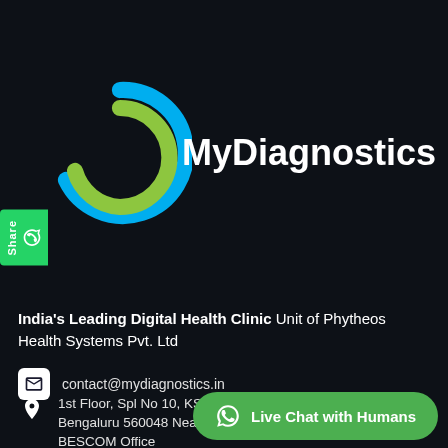[Figure (logo): MyDiagnostics logo: circular blue and lime-green swirl design with 'MyDiagnostics' text in white bold sans-serif]
India's Leading Digital Health Clinic Unit of Phytheos Health Systems Pvt. Ltd
contact@mydiagnostics.in
1st Floor, Spl No 10, KSSIDC Industrial Area, Mahadevpura, Bengaluru 560048 Near De BESCOM Office
[Figure (other): Green WhatsApp Live Chat with Humans button, bottom right]
Share